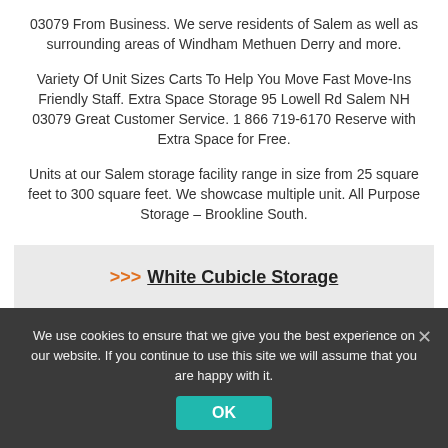03079 From Business. We serve residents of Salem as well as surrounding areas of Windham Methuen Derry and more.
Variety Of Unit Sizes Carts To Help You Move Fast Move-Ins Friendly Staff. Extra Space Storage 95 Lowell Rd Salem NH 03079 Great Customer Service. 1 866 719-6170 Reserve with Extra Space for Free.
Units at our Salem storage facility range in size from 25 square feet to 300 square feet. We showcase multiple unit. All Purpose Storage – Brookline South.
>>> White Cubicle Storage
We use cookies to ensure that we give you the best experience on our website. If you continue to use this site we will assume that you are happy with it.